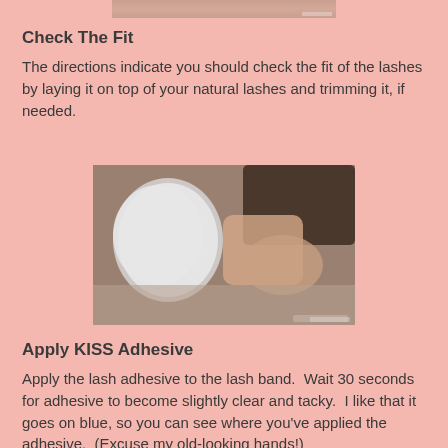[Figure (photo): Partial view of a photo at the top of the page, cropped — appears to show a person's face being touched near the eye area]
Check The Fit
The directions indicate you should check the fit of the lashes by laying it on top of your natural lashes and trimming it, if needed.
[Figure (photo): A woman with dark hair looking into a round mirror and applying false eyelashes with her fingers]
Apply KISS Adhesive
Apply the lash adhesive to the lash band.  Wait 30 seconds for adhesive to become slightly clear and tacky.  I like that it goes on blue, so you can see where you've applied the adhesive.  (Excuse my old-looking hands!)